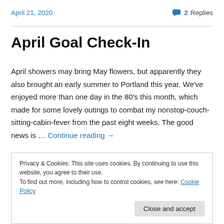April 21, 2020    2 Replies
April Goal Check-In
April showers may bring May flowers, but apparently they also brought an early summer to Portland this year. We've enjoyed more than one day in the 80's this month, which made for some lovely outings to combat my nonstop-couch-sitting-cabin-fever from the past eight weeks. The good news is … Continue reading →
Privacy & Cookies: This site uses cookies. By continuing to use this website, you agree to their use.
To find out more, including how to control cookies, see here: Cookie Policy
Close and accept